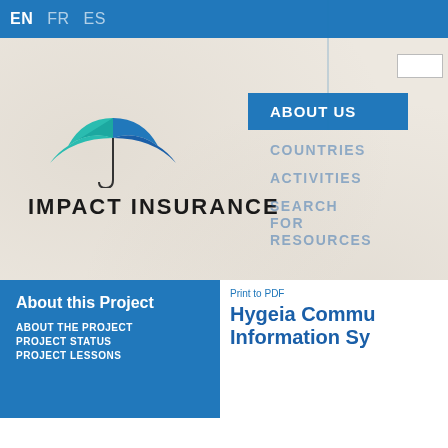EN  FR  ES
[Figure (logo): Impact Insurance logo with umbrella graphic in teal and blue, text reads IMPACT INSURANCE]
[Figure (screenshot): Navigation menu with ABOUT US highlighted in blue, followed by COUNTRIES, ACTIVITIES, SEARCH FOR RESOURCES in faded blue text. Vertical blue line separator on right side.]
Home
Print to PDF
About this Project
ABOUT THE PROJECT
PROJECT STATUS
PROJECT LESSONS
Hygeia Commu... Information Sy...